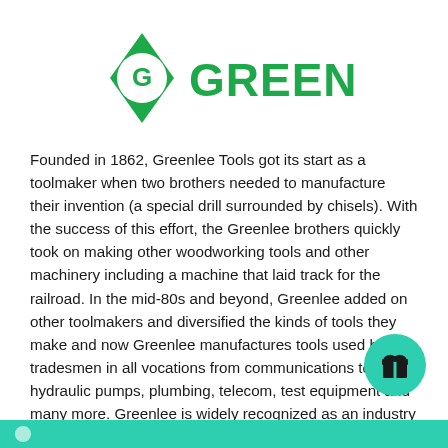[Figure (logo): Greenlee logo: green diamond shape with white G inside, followed by bold green text GREENLEE]
Founded in 1862, Greenlee Tools got its start as a toolmaker when two brothers needed to manufacture their invention (a special drill surrounded by chisels). With the success of this effort, the Greenlee brothers quickly took on making other woodworking tools and other machinery including a machine that laid track for the railroad. In the mid-80s and beyond, Greenlee added on other toolmakers and diversified the kinds of tools they make and now Greenlee manufactures tools used by tradesmen in all vocations from communications to hydraulic pumps, plumbing, telecom, test equipment and many more. Greenlee is widely recognized as an industry leader for quality hand and industrial tools.